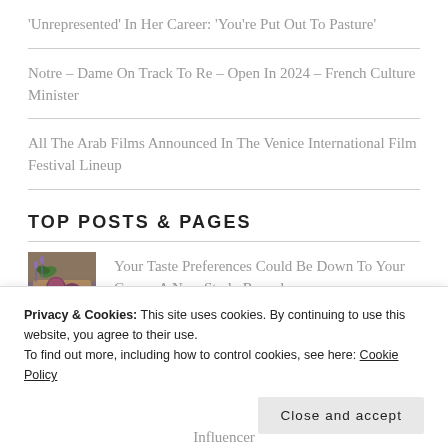'Unrepresented' In Her Career: 'You're Put Out To Pasture'
Notre – Dame On Track To Re – Open In 2024 – French Culture Minister
All The Arab Films Announced In The Venice International Film Festival Lineup
TOP POSTS & PAGES
[Figure (photo): Small thumbnail image of figs on a wooden board with purple flowers]
Your Taste Preferences Could Be Down To Your Genes, A New Study Reveals
Privacy & Cookies: This site uses cookies. By continuing to use this website, you agree to their use.
To find out more, including how to control cookies, see here: Cookie Policy
Close and accept
Influencer